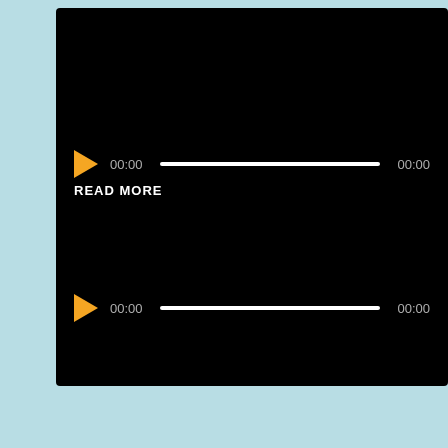[Figure (screenshot): A black audio player interface with two audio player rows, each with an orange play button, a time display showing 00:00, a white progress bar, and an end time showing 00:00. Between the two players is a 'READ MORE' text link in white bold uppercase letters.]
[Figure (screenshot): Partial view of a dark image showing the beginning of the word DEATHWATCH in stylized serif font, partially cropped at the bottom of the page.]